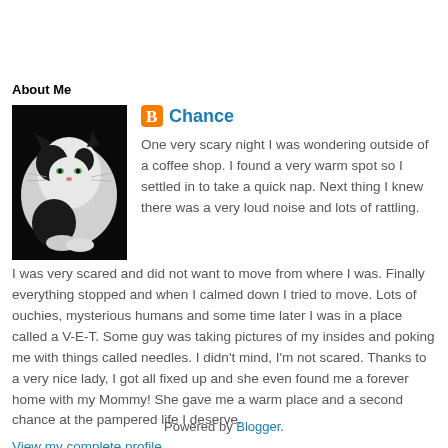About Me
[Figure (photo): Black and white cat lying down, photo used as profile image]
Chance
One very scary night I was wondering outside of a coffee shop. I found a very warm spot so I settled in to take a quick nap. Next thing I knew there was a very loud noise and lots of rattling. I was very scared and did not want to move from where I was. Finally everything stopped and when I calmed down I tried to move. Lots of ouchies, mysterious humans and some time later I was in a place called a V-E-T. Some guy was taking pictures of my insides and poking me with things called needles. I didn't mind, I'm not scared. Thanks to a very nice lady, I got all fixed up and she even found me a forever home with my Mommy! She gave me a warm place and a second chance at the pampered life I deserve.
View my complete profile
Powered by Blogger.